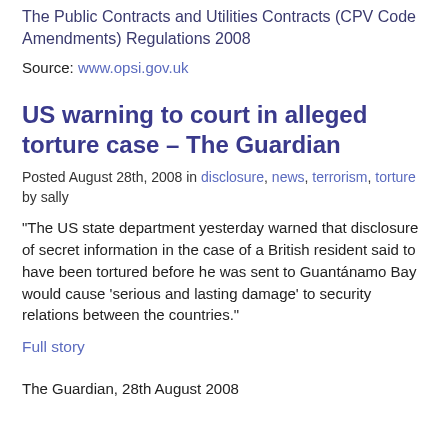The Public Contracts and Utilities Contracts (CPV Code Amendments) Regulations 2008
Source: www.opsi.gov.uk
US warning to court in alleged torture case – The Guardian
Posted August 28th, 2008 in disclosure, news, terrorism, torture by sally
“The US state department yesterday warned that disclosure of secret information in the case of a British resident said to have been tortured before he was sent to Guantánamo Bay would cause ‘serious and lasting damage’ to security relations between the countries.”
Full story
The Guardian, 28th August 2008